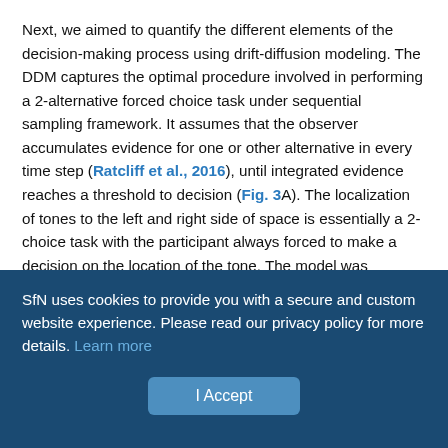Next, we aimed to quantify the different elements of the decision-making process using drift-diffusion modeling. The DDM captures the optimal procedure involved in performing a 2-alternative forced choice task under sequential sampling framework. It assumes that the observer accumulates evidence for one or other alternative in every time step (Ratcliff et al., 2016), until integrated evidence reaches a threshold to decision (Fig. 3A). The localization of tones to the left and right side of space is essentially a 2-choice task with the participant always forced to make a decision on the location of the tone. The model was implemented with a hierarchical Bayesian procedure using HDDM (see Materials and Methods). For the HDDMs, we fit the response of each participant instead of accuracy. This...
SfN uses cookies to provide you with a secure and custom website experience. Please read our privacy policy for more details. Learn more